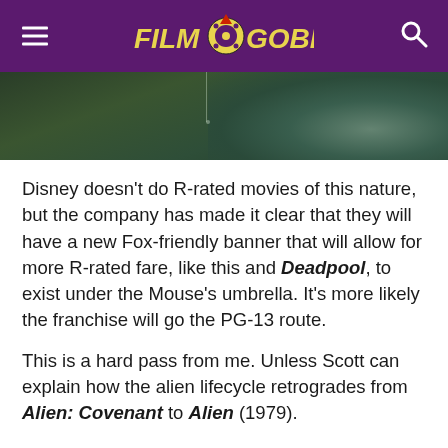Film Goblin
[Figure (photo): Close-up dark green toned image of an alien creature, showing dripping detail and textured skin against a dark background.]
Disney doesn’t do R-rated movies of this nature, but the company has made it clear that they will have a new Fox-friendly banner that will allow for more R-rated fare, like this and Deadpool, to exist under the Mouse’s umbrella. It’s more likely the franchise will go the PG-13 route.
This is a hard pass from me. Unless Scott can explain how the alien lifecycle retrogrades from Alien: Covenant to Alien (1979).